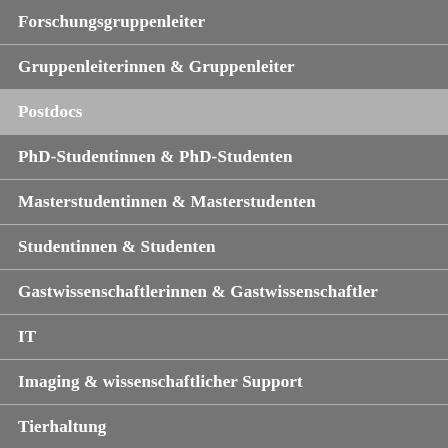Forschungsgruppenleiter
Gruppenleiterinnen & Gruppenleiter
Postdocs
PhD-Studentinnen & PhD-Studenten
Masterstudentinnen & Masterstudenten
Studentinnen & Studenten
Gastwissenschaftlerinnen & Gastwissenschaftler
IT
Imaging & wissenschaftlicher Support
Tierhaltung